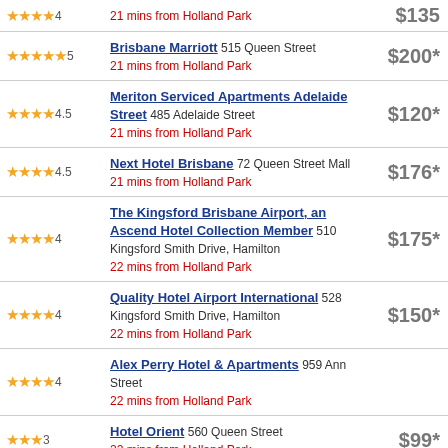4 stars, 21 mins from Holland Park, $135
Brisbane Marriott 515 Queen Street, 21 mins from Holland Park, $200*
Meriton Serviced Apartments Adelaide Street 485 Adelaide Street, 21 mins from Holland Park, $120*
Next Hotel Brisbane 72 Queen Street Mall, 21 mins from Holland Park, $176*
The Kingsford Brisbane Airport, an Ascend Hotel Collection Member 510 Kingsford Smith Drive, Hamilton, 22 mins from Holland Park, $175*
Quality Hotel Airport International 528 Kingsford Smith Drive, Hamilton, 22 mins from Holland Park, $150*
Alex Perry Hotel & Apartments 959 Ann Street, 22 mins from Holland Park
Hotel Orient 560 Queen Street, 22 mins from Holland Park, $99*
Ascot Executive Apartments 80 Racecourse Rd, Ascot, 22 mins from Holland Park, $128*
M&A Apartments 25 Connor Street, 22 mins from Holland Park, $175*
Vine Serviced Apartments 27 Russell Street, 22 mins from Holland Park, $195*